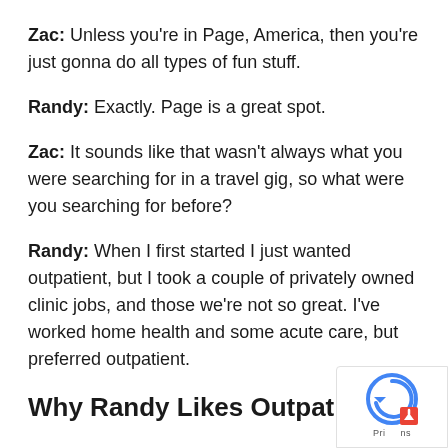Zac: Unless you're in Page, America, then you're just gonna do all types of fun stuff.
Randy: Exactly. Page is a great spot.
Zac: It sounds like that wasn't always what you were searching for in a travel gig, so what were you searching for before?
Randy: When I first started I just wanted outpatient, but I took a couple of privately owned clinic jobs, and those we're not so great. I've worked home health and some acute care, but preferred outpatient.
Why Randy Likes Outpatient